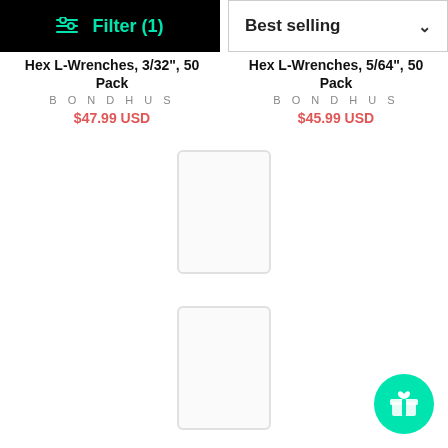[Figure (screenshot): Filter button (black background, teal text) and Best selling sort dropdown]
Hex L-Wrenches, 3/32", 50 Pack
BONDHUS
$47.99 USD
Hex L-Wrenches, 5/64", 50 Pack
BONDHUS
$45.99 USD
[Figure (photo): Product placeholder image for Bondhus 26503]
[Figure (photo): Product placeholder image for Bondhus 26502]
Bondhus 26503 Stubby Ball End Hex L-Wrenches, 1/16", 50 Pack
BONDHUS
$45.99 USD
Bondhus 26502 Stubby Ball End Hex L-Wrenches, .050", 50 Pack
BONDHUS
$45.99 USD